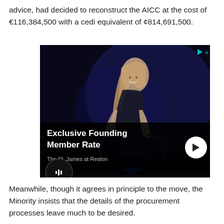advice, had decided to reconstruct the AICC at the cost of €116,384,500 with a cedi equivalent of ¢814,691,500.
[Figure (photo): Advertisement showing a woman with tattoos on exercise bike in a dark setting, with text overlay: 'Exclusive Founding Member Rate' and 'The St. James at Reston']
Meanwhile, though it agrees in principle to the move, the Minority insists that the details of the procurement processes leave much to be desired.